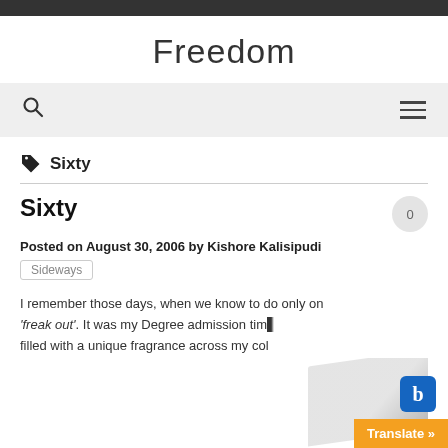Freedom
Sixty
Sixty
Posted on August 30, 2006 by Kishore Kalisipudi
Sideways
I remember those days, when we know to do only on 'freak out'. It was my Degree admission tim filled with a unique fragrance across my col